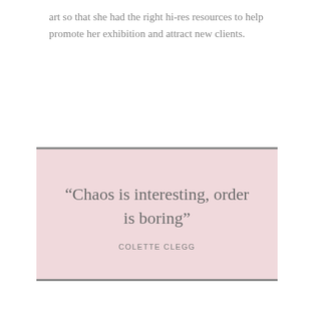art so that she had the right hi-res resources to help promote her exhibition and attract new clients.
[Figure (other): Pink quote box with dark grey top and bottom borders containing a pull quote by Colette Clegg: “Chaos is interesting, order is boring”]